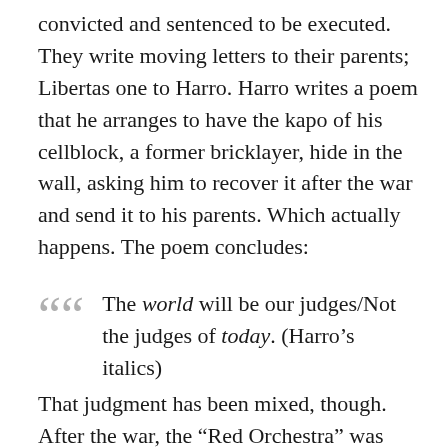convicted and sentenced to be executed. They write moving letters to their parents; Libertas one to Harro. Harro writes a poem that he arranges to have the kapo of his cellblock, a former bricklayer, hide in the wall, asking him to recover it after the war and send it to his parents. Which actually happens. The poem concludes:
The world will be our judges/Not the judges of today. (Harro's italics)
That judgment has been mixed, though. After the war, the “Red Orchestra” was celebrated by the East